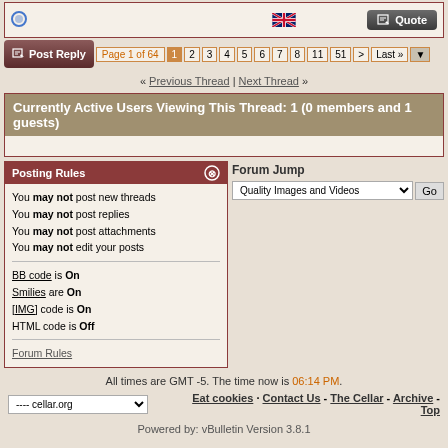[Figure (screenshot): Forum thread navigation bar with Post Reply button and page numbers (Page 1 of 64, pages 1-8, 11, 51, Last)]
« Previous Thread | Next Thread »
Currently Active Users Viewing This Thread: 1 (0 members and 1 guests)
Posting Rules
You may not post new threads
You may not post replies
You may not post attachments
You may not edit your posts
BB code is On
Smilies are On
[IMG] code is On
HTML code is Off
Forum Rules
Forum Jump
Quality Images and Videos
All times are GMT -5. The time now is 06:14 PM.
Eat cookies · Contact Us - The Cellar - Archive - Top
Powered by: vBulletin Version 3.8.1